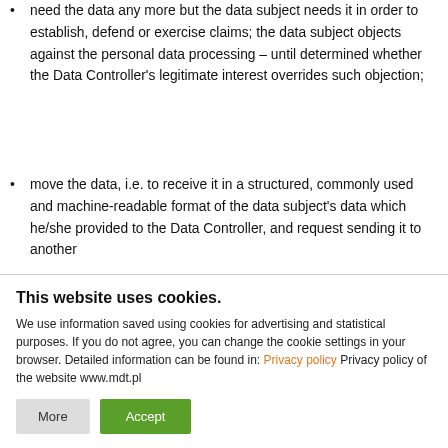need the data any more but the data subject needs it in order to establish, defend or exercise claims; the data subject objects against the personal data processing – until determined whether the Data Controller's legitimate interest overrides such objection;
move the data, i.e. to receive it in a structured, commonly used and machine-readable format of the data subject's data which he/she provided to the Data Controller, and request sending it to another
This website uses cookies.
We use information saved using cookies for advertising and statistical purposes. If you do not agree, you can change the cookie settings in your browser. Detailed information can be found in: Privacy policy Privacy policy of the website www.mdt.pl